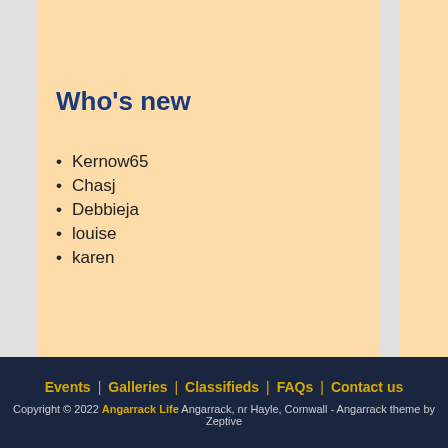Who's new
Kernow65
Chasj
Debbieja
louise
karen
Who's online
There are currently 0 users and 86 guests online.
Events | Galleries | Classifieds | FAQs | Contact us
Copyright © 2022 Angarrack Life Angarrack, nr Hayle, Cornwall - Angarrack theme by Zeptive